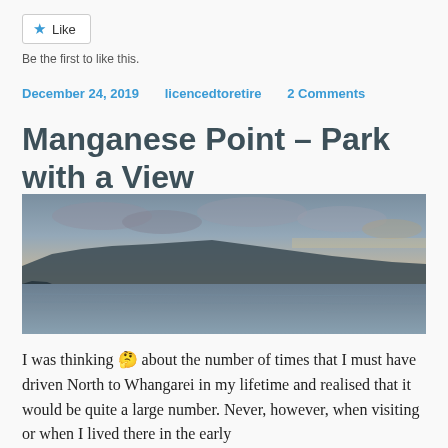★ Like
Be the first to like this.
December 24, 2019   licencedtoretire   2 Comments
Manganese Point – Park with a View
[Figure (photo): Wide panoramic photo of a coastal scene at dusk or dawn. Mountains silhouetted in the distance across calm water, with a dramatic sky showing clouds and warm orange/yellow light near the horizon.]
I was thinking 🤔 about the number of times that I must have driven North to Whangarei in my lifetime and realised that it would be quite a large number. Never, however, when visiting or when I lived there in the early